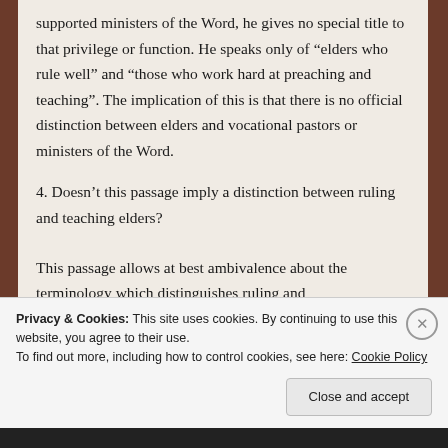supported ministers of the Word, he gives no special title to that privilege or function. He speaks only of “elders who rule well” and “those who work hard at preaching and teaching”. The implication of this is that there is no official distinction between elders and vocational pastors or ministers of the Word.
4. Doesn’t this passage imply a distinction between ruling and teaching elders?
This passage allows at best ambivalence about the terminology which distinguishes ruling and
Privacy & Cookies: This site uses cookies. By continuing to use this website, you agree to their use.
To find out more, including how to control cookies, see here: Cookie Policy
Close and accept